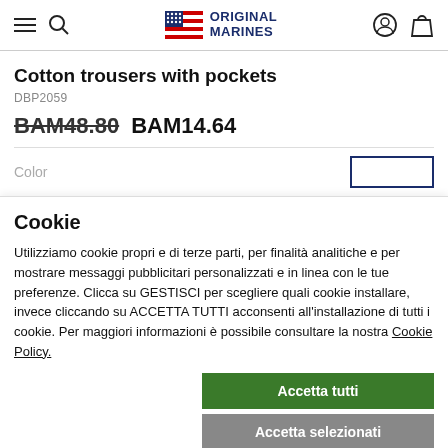Original Marines
Cotton trousers with pockets
DBP2059
BAM48.80  BAM14.64
Color
Cookie
Utilizziamo cookie propri e di terze parti, per finalità analitiche e per mostrare messaggi pubblicitari personalizzati e in linea con le tue preferenze. Clicca su GESTISCI per scegliere quali cookie installare, invece cliccando su ACCETTA TUTTI acconsenti all'installazione di tutti i cookie. Per maggiori informazioni è possibile consultare la nostra Cookie Policy.
Accetta tutti
Accetta selezionati
Continua senza accettare
Necessari  Prestazione  Funzionalità  Gestisci  Pubblicità